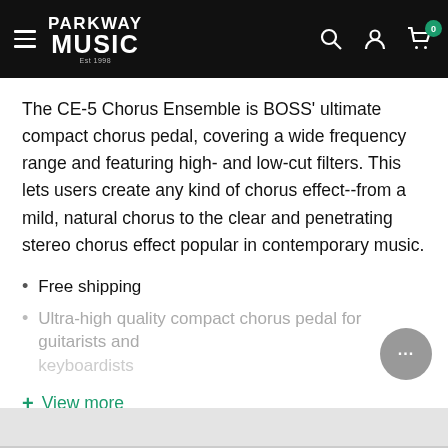Parkway Music — Est 1998
The CE-5 Chorus Ensemble is BOSS' ultimate compact chorus pedal, covering a wide frequency range and featuring high- and low-cut filters. This lets users create any kind of chorus effect--from a mild, natural chorus to the clear and penetrating stereo chorus effect popular in contemporary music.
Free shipping
Ultra-high quality compact chorus pedal for guitarists and keyboardists
+ View more